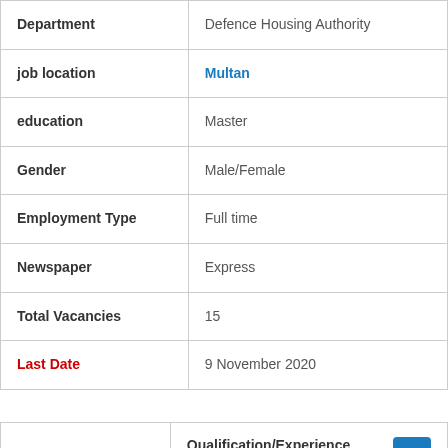| Field | Value |
| --- | --- |
| Department | Defence Housing Authority |
| job location | Multan |
| education | Master |
| Gender | Male/Female |
| Employment Type | Full time |
| Newspaper | Express |
| Total Vacancies | 15 |
| Last Date | 9 November 2020 |
| Post Name | Qualification/Experience |
| --- | --- |
|  | Naib Sobidar/Sobidar retired from MT/15- |